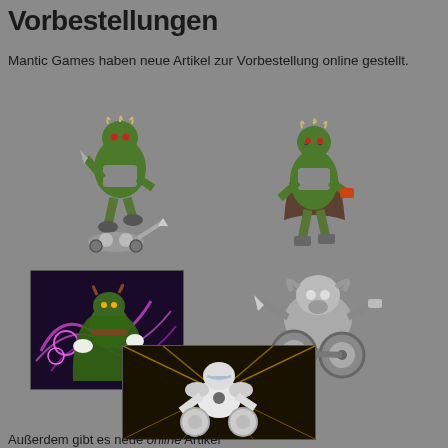Vorbestellungen
Mantic Games haben neue Artikel zur Vorbestellung online gestellt.
[Figure (illustration): Two green orc/goblin warrior miniature figures with mechanical armor, one stomping an enemy, one in fighting stance]
[Figure (illustration): Left: illustrated goblin character with pink swirl effects. Right: grey mechanical creature/robot miniature on wheels. Bottom: white armored character with speed lines illustration.]